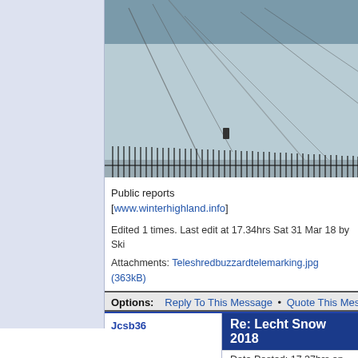[Figure (photo): Snowy ski slope with a snow fence (orange/dark stakes) running diagonally across the image; ski tracks visible in the snow; grey-blue wintry sky.]
Public reports [www.winterhighland.info]
Edited 1 times. Last edit at 17.34hrs Sat 31 Mar 18 by Ski
Attachments: Teleshredbuzzardtelemarking.jpg (363kB)
Options:  Reply To This Message • Quote This Message • Report This Messa
Jcsb36
Re: Lecht Snow 2018
Date Posted: 17.37hrs on Sun 1 Apr 18